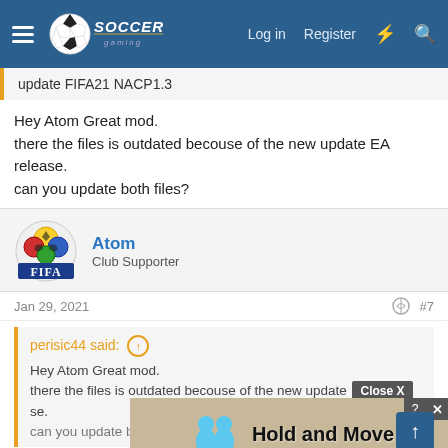Soccer Gaming — Log in | Register
update FIFA21 NACP1.3
Hey Atom Great mod.
there the files is outdated becouse of the new update EA release.
can you update both files?
Atom
Club Supporter
Jan 29, 2021   #7
perisic44 said:
Hey Atom Great mod.
there the files is outdated becouse of the new update EA release.
can you update both files?
I have a